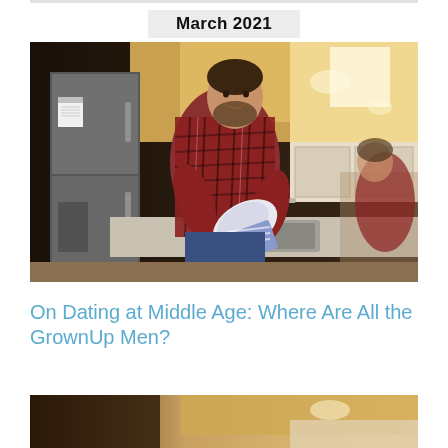March 2021
[Figure (photo): Man in plaid shirt smiling while washing dishes at kitchen sink, modern kitchen with stainless steel refrigerator in background]
On Dating at Middle Age: Where Are All the GrownUp Men?
[Figure (photo): Partial view of another photo, appears to be similar kitchen scene]